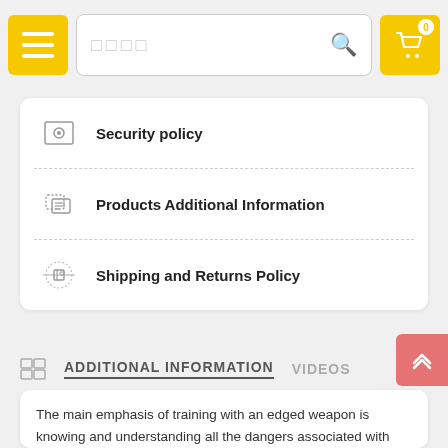[Figure (screenshot): Navigation bar with hamburger menu button (yellow), search bar with placeholder text, and shopping cart button (yellow) with 0 badge]
Security policy
Products Additional Information
Shipping and Returns Policy
ADDITIONAL INFORMATION   VIDEOS
The main emphasis of training with an edged weapon is knowing and understanding all the dangers associated with this type of weapon. All the "What if"s", and "Yeah buts", are all great for trial and error, and assuming predictability. The serious danger of edge weapons is real, and should be treated as such. This means where you should establish your training priority to be a survival tool, in the event this situation happens to you. Let's face it, you are the one having to survive, not your trainer, helps you train your goals, not your